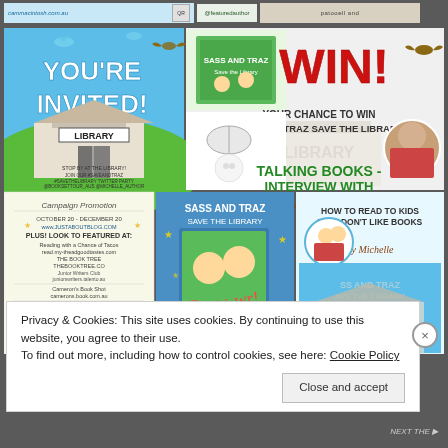[Figure (screenshot): Page header bar showing readilearn website banner and featured author social media images]
[Figure (screenshot): Collage of promotional images for 'Sass and Traz Save the Library' book campaign including: YOU'RE INVITED library event, WIN your chance to win Sass and Traz Save the Library, Talking Books Interview with Michelle Worthington, How to Read to Kids Who Don't Like Books, campaign flyer, and book cover image]
Privacy & Cookies: This site uses cookies. By continuing to use this website, you agree to their use. To find out more, including how to control cookies, see here: Cookie Policy
Close and accept